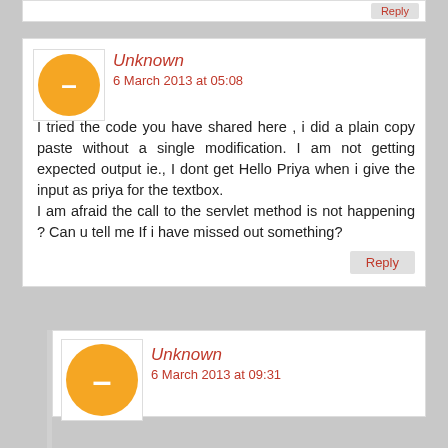Reply
Unknown
6 March 2013 at 05:08

Hi
I tried the code you have shared here , i did a plain copy paste without a single modification. I am not getting expected output ie., I dont get Hello Priya when i give the input as priya for the textbox.
I am afraid the call to the servlet method is not happening ? Can u tell me If i have missed out something?
Reply
Unknown
6 March 2013 at 09:31

Hi,